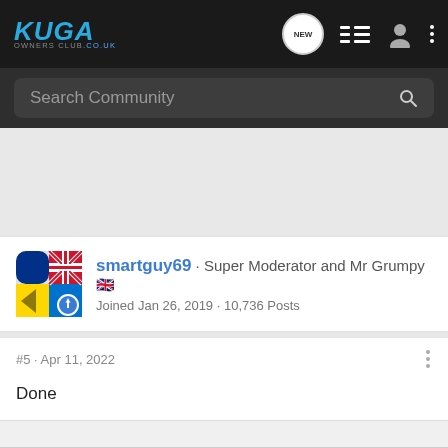Kuga Owners Club .co.uk — navigation bar with NEW, list, user, and menu icons
Search Community
[Figure (illustration): User avatar for smartguy69 showing a UK flag and yellow/blue icon with a blue lightning bolt badge]
smartguy69 · Super Moderator and Mr Grumpy 🇬🇧
Joined Jan 26, 2019 · 10,736 Posts
#5 · Apr 11, 2022
Done